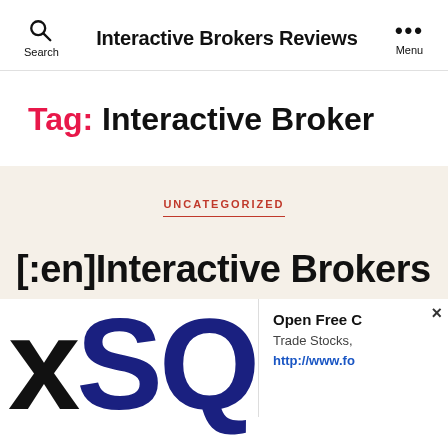Interactive Brokers Reviews
Tag: Interactive Broker
UNCATEGORIZED
[:en]Interactive Brokers
[Figure (screenshot): Screenshot showing 'exSQ' logo text in large bold letters (x in black, SQ in dark navy/blue) with an ad overlay popup in the top right corner showing 'Open Free C... Trade Stocks, ... http://www.fo...']